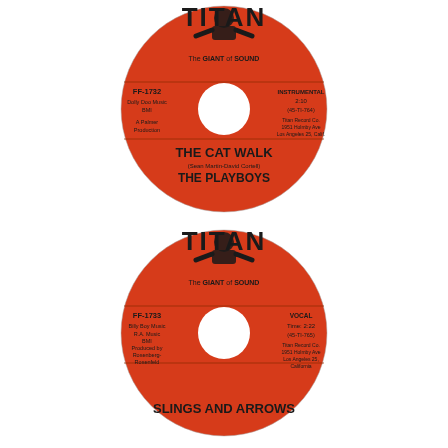[Figure (illustration): Top red vinyl 45 RPM record label for Titan Records. Shows the Titan logo (muscleman figure holding up the word TITAN) at top, tagline 'The GIANT of SOUND', catalog number FF-1732, publishing info 'Dolly Doo Music BMI', 'A Palmer Production', on right 'INSTRUMENTAL 2:10 (45-TI-764)', 'Titan Record Co. 1951 Holmby Ave Los Angeles 25, Calif.' Song title 'THE CAT WALK', songwriter credit '(Sean Martin-David Cortell)', artist name 'THE PLAYBOYS', center hole visible.]
[Figure (illustration): Bottom red vinyl 45 RPM record label for Titan Records. Shows the Titan logo (muscleman figure holding up the word TITAN) at top, tagline 'The GIANT of SOUND', catalog number FF-1733, publishing info 'Billy Boy Music R.A. Music BMI', 'Produced by Rosenberg-Rosenfeld', on right 'VOCAL Time: 2:22 (45-TI-765)', 'Titan Record Co. 1951 Holmby Ave Los Angeles 25, Calif.' Partial song title visible at bottom 'SLINGS AND ARROWS', center hole visible.]